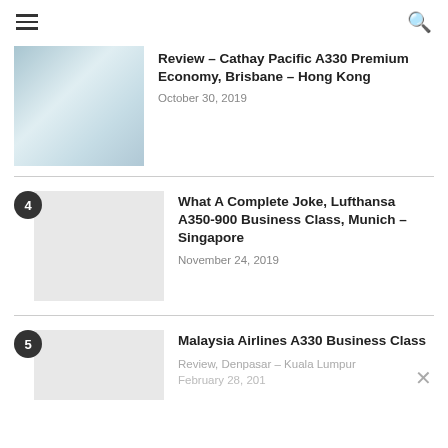☰  🔍
[Figure (photo): Cathay Pacific A330 premium economy seat photo thumbnail]
Review – Cathay Pacific A330 Premium Economy, Brisbane – Hong Kong
October 30, 2019
4 – What A Complete Joke, Lufthansa A350-900 Business Class, Munich – Singapore — November 24, 2019
5 – Malaysia Airlines A330 Business Class Review, Denpasar – Kuala Lumpur — February 28, 2019